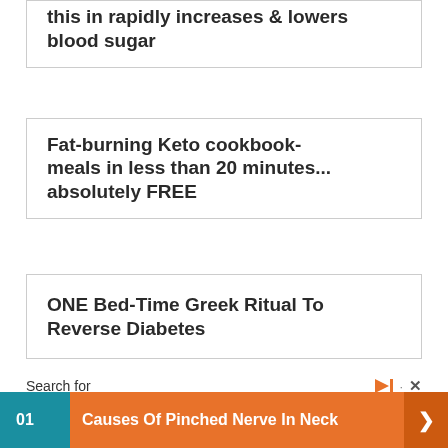this in rapidly increases & lowers blood sugar
Fat-burning Keto cookbook- meals in less than 20 minutes... absolutely FREE
ONE Bed-Time Greek Ritual To Reverse Diabetes
Search for
01 Causes Of Pinched Nerve In Neck